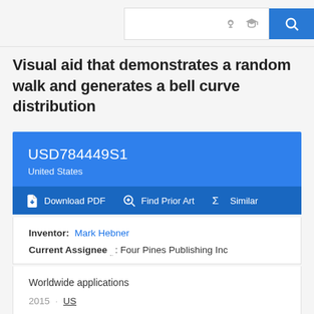[Figure (screenshot): Google Patents search bar UI with search icons and blue search button]
Visual aid that demonstrates a random walk and generates a bell curve distribution
USD784449S1
United States
Download PDF | Find Prior Art | Similar
Inventor: Mark Hebner
Current Assignee: Four Pines Publishing Inc
Worldwide applications
2015 · US